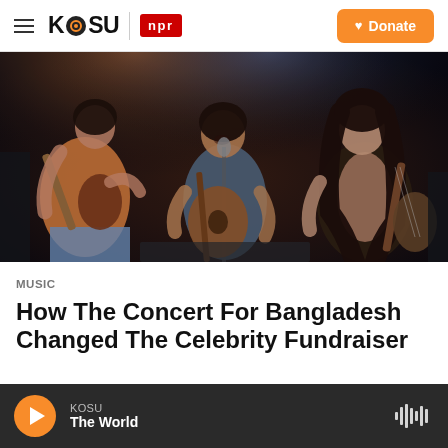KOSU | npr — Donate
[Figure (photo): Concert photograph showing three musicians performing on stage with guitars and microphones, in dramatic stage lighting with orange and blue tones, vintage 1970s style.]
Music
How The Concert For Bangladesh Changed The Celebrity Fundraiser
KOSU — The World (audio player bar)